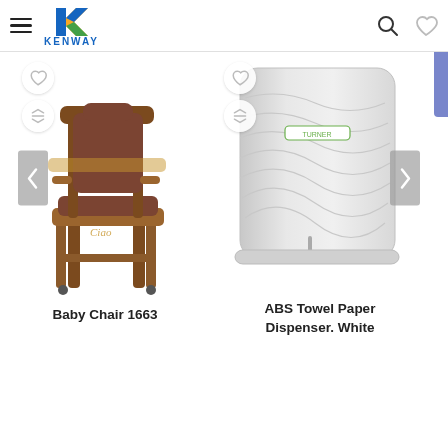Kenway - Navigation header with hamburger menu, Kenway logo, search and heart icons
[Figure (photo): Wooden baby high chair with brown leather seat, model 1663]
Baby Chair 1663
[Figure (photo): ABS Towel Paper Dispenser in white color]
ABS Towel Paper Dispenser. White